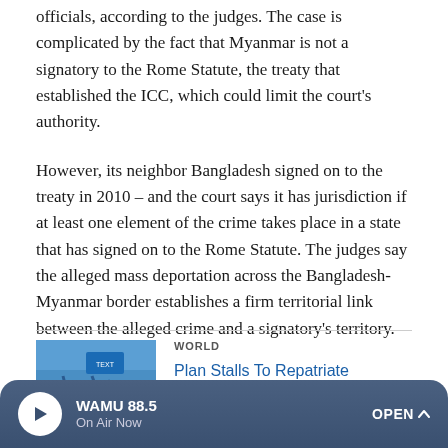officials, according to the judges. The case is complicated by the fact that Myanmar is not a signatory to the Rome Statute, the treaty that established the ICC, which could limit the court's authority.
However, its neighbor Bangladesh signed on to the treaty in 2010 – and the court says it has jurisdiction if at least one element of the crime takes place in a state that has signed on to the Rome Statute. The judges say the alleged mass deportation across the Bangladesh-Myanmar border establishes a firm territorial link between the alleged crime and a signatory's territory.
[Figure (photo): Photo of crowd of people with arms raised, with blue text/sign visible]
WORLD
Plan Stalls To Repatriate Rohingya Refugees
WAMU 88.5 On Air Now OPEN